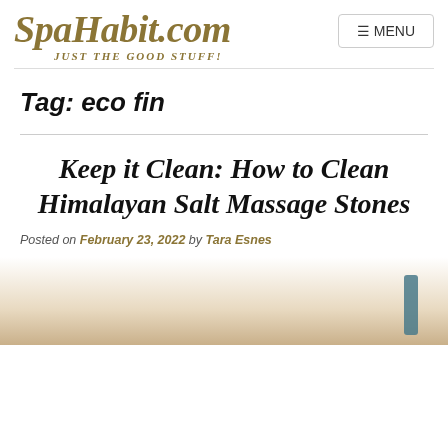SpaHabit.com — JUST THE GOOD STUFF!
Tag: eco fin
Keep it Clean: How to Clean Himalayan Salt Massage Stones
Posted on February 23, 2022 by Tara Esnes
[Figure (photo): Partial view of Himalayan salt massage stones product packaging at the bottom of the image]